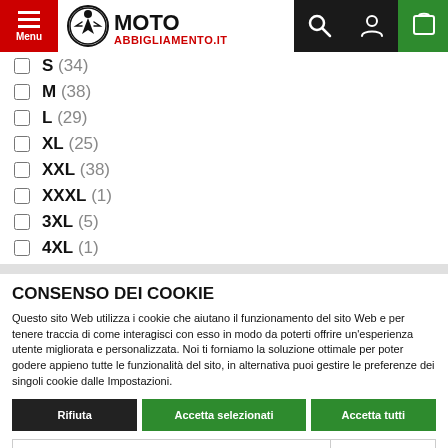Menu | MOTO ABBIGLIAMENTO.IT | Search | User | Cart
S (34)
M (38)
L (29)
XL (25)
XXL (38)
XXXL (1)
3XL (5)
4XL (1)
CONSENSO DEI COOKIE
Questo sito Web utilizza i cookie che aiutano il funzionamento del sito Web e per tenere traccia di come interagisci con esso in modo da poterti offrire un’esperienza utente migliorata e personalizzata. Noi ti forniamo la soluzione ottimale per poter godere appieno tutte le funzionalità del sito, in alternativa puoi gestire le preferenze dei singoli cookie dalle Impostazioni.
Rifiuta | Accetta selezionati | Accetta tutti
Necessari | Funzionale | Analytics | Advertisement | Mostra dettagli